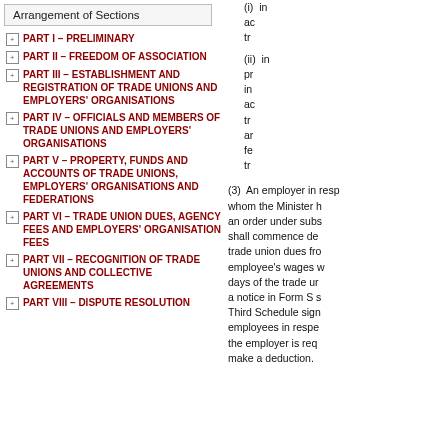Arrangement of Sections
PART I – PRELIMINARY
PART II – FREEDOM OF ASSOCIATION
PART III – ESTABLISHMENT AND REGISTRATION OF TRADE UNIONS AND EMPLOYERS' ORGANISATIONS
PART IV – OFFICIALS AND MEMBERS OF TRADE UNIONS AND EMPLOYERS' ORGANISATIONS
PART V – PROPERTY, FUNDS AND ACCOUNTS OF TRADE UNIONS, EMPLOYERS' ORGANISATIONS AND FEDERATIONS
PART VI – TRADE UNION DUES, AGENCY FEES AND EMPLOYERS' ORGANISATION FEES
PART VII – RECOGNITION OF TRADE UNIONS AND COLLECTIVE AGREEMENTS
PART VIII – DISPUTE RESOLUTION
(i) in ac tr
(ii) in pr in ac tr ar fe tr
(3) An employer in resp whom the Minister h an order under subs shall commence de trade union dues fro employee's wages w days of the trade ur a notice in Form S s Third Schedule sign employees in respe the employer is req make a deduction.